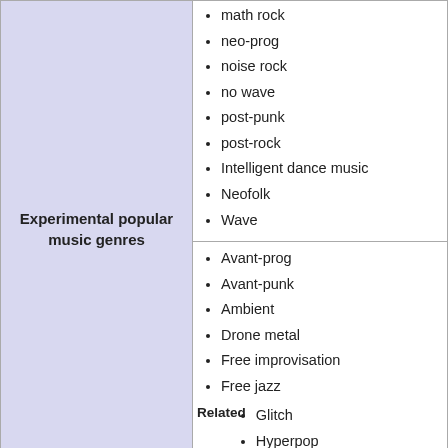Experimental popular music genres
math rock
neo-prog
noise rock
no wave
post-punk
post-rock
Intelligent dance music
Neofolk
Wave
Avant-prog
Avant-punk
Ambient
Drone metal
Free improvisation
Free jazz
Related
Glitch
Hyperpop